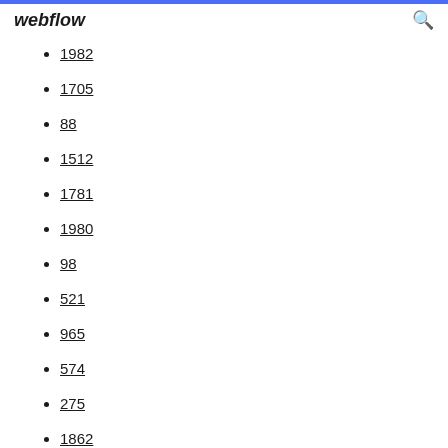webflow
1982
1705
88
1512
1781
1980
98
521
965
574
275
1862
157